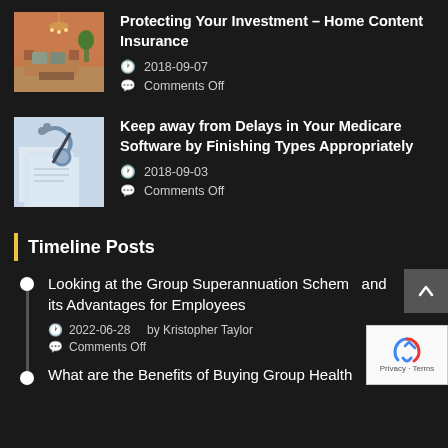[Figure (photo): Interior room photo with sofa and chandelier]
Protecting Your Investment – Home Content Insurance
2018-09-07
Comments Off
[Figure (photo): Medical/insurance themed photo with stethoscope and documents]
Keep away from Delays in Your Medicare Software by Finishing Types Appropriately
2018-09-03
Comments Off
Timeline Posts
Looking at the Group Superannuation Scheme and its Advantages for Employees
2022-06-28    by Kristopher Taylor
Comments Off
What are the Benefits of Buying Group Health